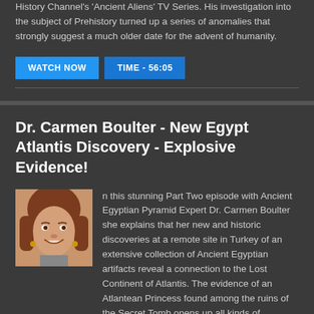History Channel's 'Ancient Aliens' TV Series. His investigation into the subject of Prehistory turned up a series of anomalies that strongly suggest a much older date for the advent of humanity.
WATCH NOW | TIME - 56:05
Dr. Carmen Boulter - New Egypt Atlantis Discovery - Explosive Evidence!
[Figure (photo): Portrait photo of Dr. Carmen Boulter, a woman with reddish-brown hair, smiling]
n this stunning Part Two episode with Ancient Egyptian Pyramid Expert Dr. Carmen Boulter she explains that her new and historic discoveries at a remote site in Turkey of an extensive collection of Ancient Egyptian artifacts reveal a connection to the Lost Continent of Atlantis. The evidence of an Atlantean Princess found among the ruins of the Secret Tomb opens up all kinds of questions for our dating of Ancient Egyptian as well as Atlantean history. As Dr.Boulter explains, 'this is history in the making and the stunning discovery will